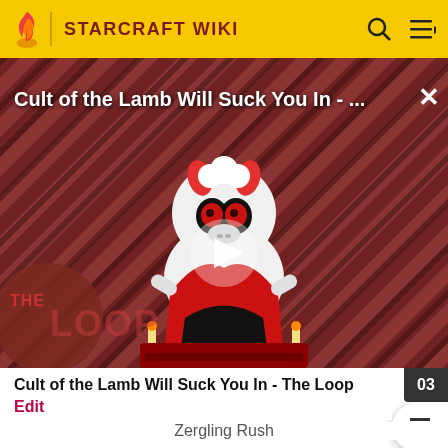STARCRAFT WIKI
[Figure (screenshot): Video thumbnail for 'Cult of the Lamb Will Suck You In - The Loop' showing animated lamb character on a diagonal stripe background with a play button overlay and 'THE LOOP' text badge]
Cult of the Lamb Will Suck You In - The Loop
Edit
Zergling Rush